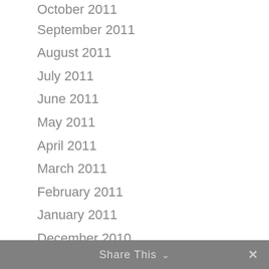October 2011
September 2011
August 2011
July 2011
June 2011
May 2011
April 2011
March 2011
February 2011
January 2011
December 2010
October 2010
September 2010
August 2010
July 2010
Share This  ✓  ✕